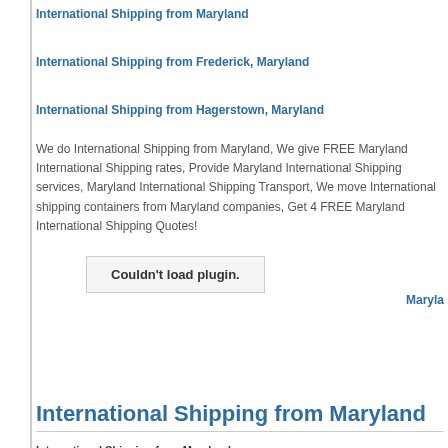International Shipping from Maryland
International Shipping from Frederick, Maryland
International Shipping from Hagerstown, Maryland
We do International Shipping from Maryland, We give FREE Maryland International Shipping rates, Provide Maryland International Shipping services, Maryland International Shipping Transport, We move International shipping containers from Maryland companies, Get 4 FREE Maryland International Shipping Quotes!
Couldn't load plugin.
Maryla
International Shipping from Maryland
International Shipping from Maryland